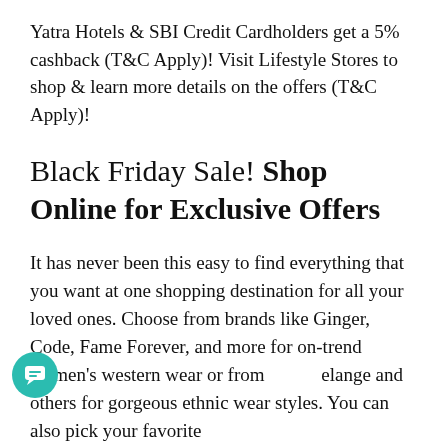Yatra Hotels & SBI Credit Cardholders get a 5% cashback (T&C Apply)! Visit Lifestyle Stores to shop & learn more details on the offers (T&C Apply)!
Black Friday Sale! Shop Online for Exclusive Offers
It has never been this easy to find everything that you want at one shopping destination for all your loved ones. Choose from brands like Ginger, Code, Fame Forever, and more for on-trend women's western wear or from Melange and others for gorgeous ethnic wear styles. You can also pick your favorite